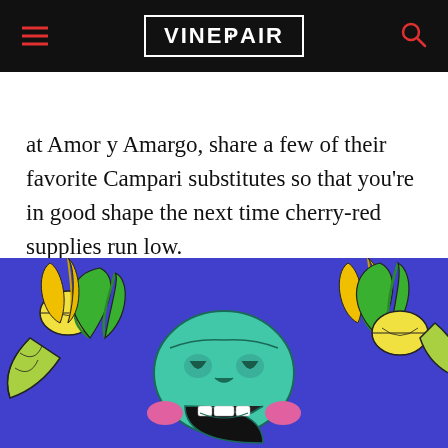VINEPAIR
at Amor y Amargo, share a few of their favorite Campari substitutes so that you're in good shape the next time cherry-red supplies run low.
8. The 30 Best Tequilas for Every Budget
[Figure (illustration): Colorful illustration on a blue/purple background showing a stylized teal skull with an open mouth, surrounded by lime/lemon wedge slices and tropical leaf decorations in yellow, green, and pink.]